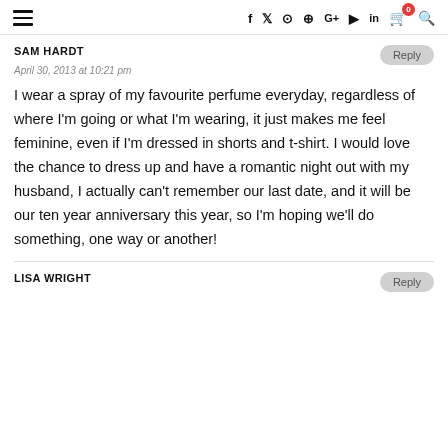≡  f  twitter  instagram  pinterest  G+  youtube  in  cart(0)  search
SAM HARDT
April 30, 2013 at 10:21 pm

I wear a spray of my favourite perfume everyday, regardless of where I'm going or what I'm wearing, it just makes me feel feminine, even if I'm dressed in shorts and t-shirt. I would love the chance to dress up and have a romantic night out with my husband, I actually can't remember our last date, and it will be our ten year anniversary this year, so I'm hoping we'll do something, one way or another!
LISA WRIGHT